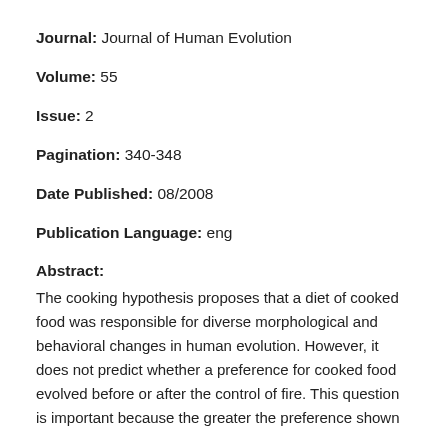Journal: Journal of Human Evolution
Volume: 55
Issue: 2
Pagination: 340-348
Date Published: 08/2008
Publication Language: eng
Abstract:
The cooking hypothesis proposes that a diet of cooked food was responsible for diverse morphological and behavioral changes in human evolution. However, it does not predict whether a preference for cooked food evolved before or after the control of fire. This question is important because the greater the preference shown